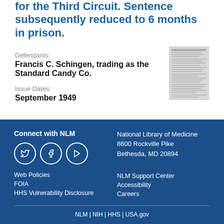for the Third Circuit. Sentence subsequently reduced to 6 months in prison.
Defendants:
Francis C. Schingen, trading as the Standard Candy Co.
Issue Dates:
September 1949
[Figure (photo): Thumbnail image of a document page]
Connect with NLM
National Library of Medicine
8600 Rockville Pike
Bethesda, MD 20894
Web Policies
FOIA
HHS Vulnerability Disclosure
NLM Support Center
Accessibility
Careers
NLM | NIH | HHS | USA.gov